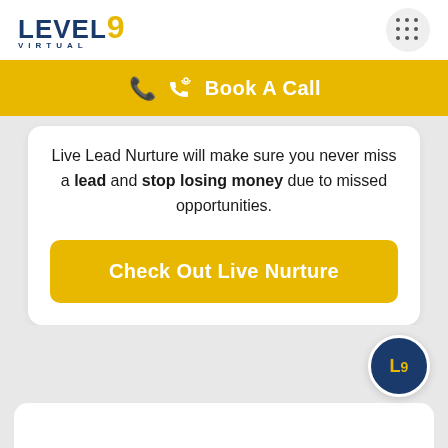LEVEL 9 VIRTUAL
Book A Call
Live Lead Nurture will make sure you never miss a lead and stop losing money due to missed opportunities.
Check Out Live Nurture